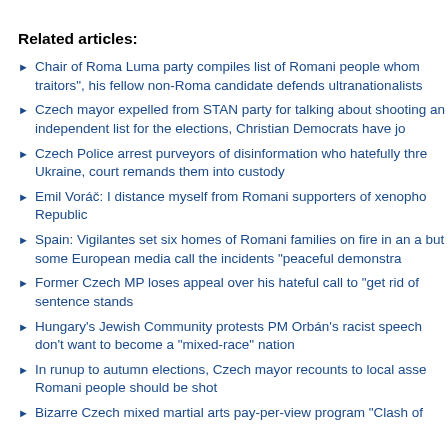Related articles:
Chair of Roma Luma party compiles list of Romani people whom traitors", his fellow non-Roma candidate defends ultranationalists
Czech mayor expelled from STAN party for talking about shooting an independent list for the elections, Christian Democrats have jo
Czech Police arrest purveyors of disinformation who hatefully thre Ukraine, court remands them into custody
Emil Voráč: I distance myself from Romani supporters of xenopho Republic
Spain: Vigilantes set six homes of Romani families on fire in an a but some European media call the incidents "peaceful demonstra
Former Czech MP loses appeal over his hateful call to "get rid of sentence stands
Hungary's Jewish Community protests PM Orbán's racist speech don't want to become a "mixed-race" nation
In runup to autumn elections, Czech mayor recounts to local asse Romani people should be shot
Bizarre Czech mixed martial arts pay-per-view program "Clash of